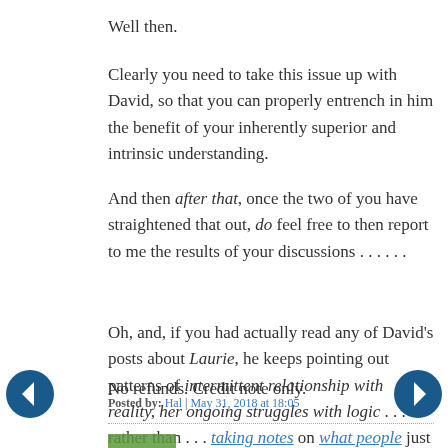Well then.
Clearly you need to take this issue up with David, so that you can properly entrench in him the benefit of your inherently superior and intrinsic understanding.
And then after that, once the two of you have straightened that out, do feel free to then report to me the results of your discussions . . . . . .
Oh, and, if you had actually read any of David's posts about Laurie, he keeps pointing out patterns of intermittent relationship with reality, her ongoing struggles with logic . . . rather than . . . taking notes on what people just do politically, and have been doing, and will keep doing.
No refunds. Credit note only.
Posted by: Hal | May 31, 2018 at 18:05